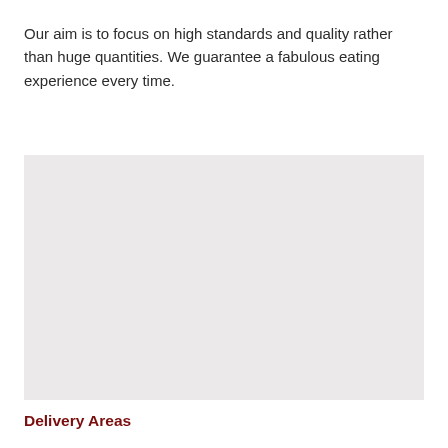Our aim is to focus on high standards and quality rather than huge quantities. We guarantee a fabulous eating experience every time.
[Figure (photo): A light grey/beige placeholder image block]
Delivery Areas